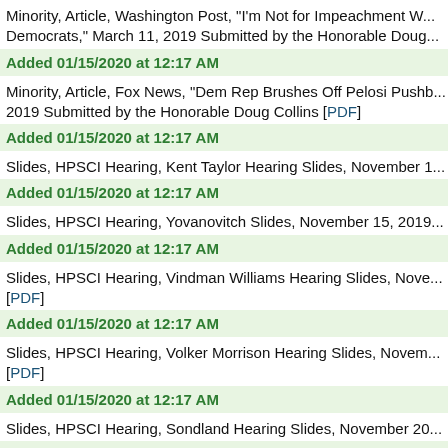Minority, Article, Washington Post, "I'm Not for Impeachment W... Democrats," March 11, 2019 Submitted by the Honorable Doug...
Added 01/15/2020 at 12:17 AM
Minority, Article, Fox News, "Dem Rep Brushes Off Pelosi Pushb... 2019 Submitted by the Honorable Doug Collins [PDF]
Added 01/15/2020 at 12:17 AM
Slides, HPSCI Hearing, Kent Taylor Hearing Slides, November 1...
Added 01/15/2020 at 12:17 AM
Slides, HPSCI Hearing, Yovanovitch Slides, November 15, 2019...
Added 01/15/2020 at 12:17 AM
Slides, HPSCI Hearing, Vindman Williams Hearing Slides, Nove... [PDF]
Added 01/15/2020 at 12:17 AM
Slides, HPSCI Hearing, Volker Morrison Hearing Slides, Novem... [PDF]
Added 01/15/2020 at 12:17 AM
Slides, HPSCI Hearing, Sondland Hearing Slides, November 20...
Added 01/15/2020 at 12:17 AM
Slides, HPSCI Hearing, Cooper Hale Hearing Slides, November...
Added 01/15/2020 at 12:17 AM
Slides, HPSCI Hearing, Hill Holmes Hearing Slides, November 2...